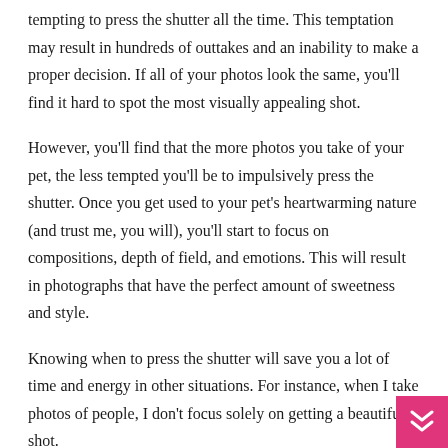tempting to press the shutter all the time. This temptation may result in hundreds of outtakes and an inability to make a proper decision. If all of your photos look the same, you'll find it hard to spot the most visually appealing shot.
However, you'll find that the more photos you take of your pet, the less tempted you'll be to impulsively press the shutter. Once you get used to your pet's heartwarming nature (and trust me, you will), you'll start to focus on compositions, depth of field, and emotions. This will result in photographs that have the perfect amount of sweetness and style.
Knowing when to press the shutter will save you a lot of time and energy in other situations. For instance, when I take photos of people, I don't focus solely on getting a beautiful shot.